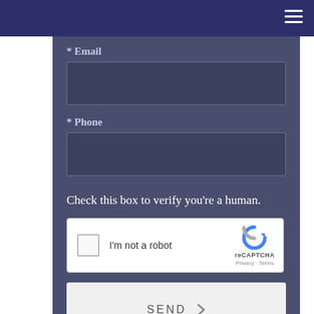* Email
* Phone
Check this box to verify you're a human.
[Figure (other): reCAPTCHA widget with checkbox labeled 'I'm not a robot' and reCAPTCHA logo with Privacy and Terms links]
SEND >